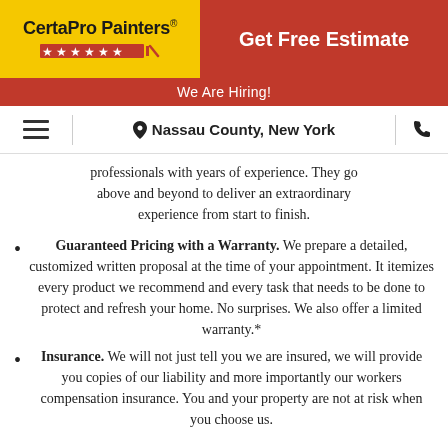CertaPro Painters® | Get Free Estimate
We Are Hiring!
Nassau County, New York
professionals with years of experience. They go above and beyond to deliver an extraordinary experience from start to finish.
Guaranteed Pricing with a Warranty. We prepare a detailed, customized written proposal at the time of your appointment. It itemizes every product we recommend and every task that needs to be done to protect and refresh your home. No surprises. We also offer a limited warranty.*
Insurance. We will not just tell you we are insured, we will provide you copies of our liability and more importantly our workers compensation insurance. You and your property are not at risk when you choose us.